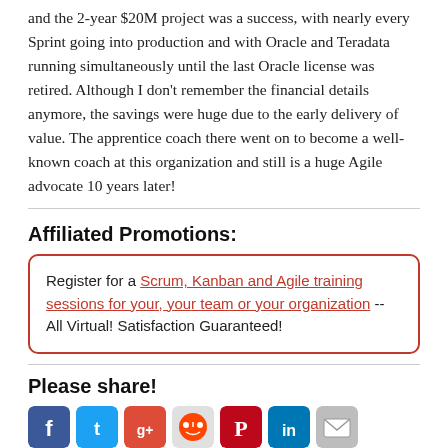and the 2-year $20M project was a success, with nearly every Sprint going into production and with Oracle and Teradata running simultaneously until the last Oracle license was retired.  Although I don't remember the financial details anymore, the savings were huge due to the early delivery of value.  The apprentice coach there went on to become a well-known coach at this organization and still is a huge Agile advocate 10 years later!
Affiliated Promotions:
Register for a Scrum, Kanban and Agile training sessions for your, your team or your organization -- All Virtual! Satisfaction Guaranteed!
Please share!
[Figure (other): Row of social media sharing icons: Facebook, Twitter, Google+, Reddit, Pinterest, LinkedIn, Email]